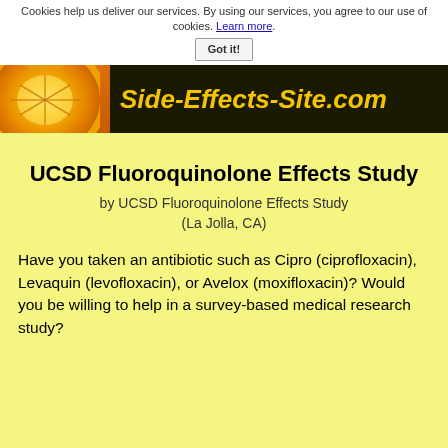Cookies help us deliver our services. By using our services, you agree to our use of cookies. Learn more.
Got it!
[Figure (illustration): Website banner for Side-Effects-Site.com showing an orange slice on the left against a black background with yellow italic bold text 'Side-Effects-Site.com']
UCSD Fluoroquinolone Effects Study
by UCSD Fluoroquinolone Effects Study
(La Jolla, CA)
Have you taken an antibiotic such as Cipro (ciprofloxacin), Levaquin (levofloxacin), or Avelox (moxifloxacin)? Would you be willing to help in a survey-based medical research study?